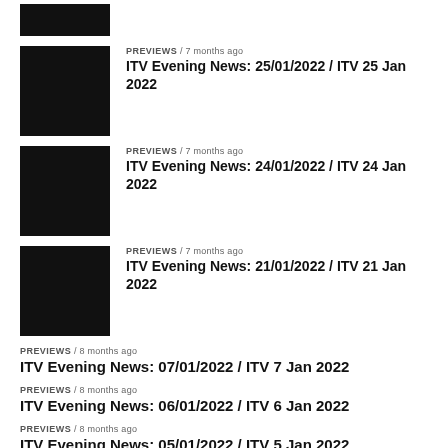[Figure (photo): Black thumbnail image (cropped top)]
PREVIEWS / 7 months ago
ITV Evening News: 25/01/2022 / ITV 25 Jan 2022
PREVIEWS / 7 months ago
ITV Evening News: 24/01/2022 / ITV 24 Jan 2022
PREVIEWS / 7 months ago
ITV Evening News: 21/01/2022 / ITV 21 Jan 2022
PREVIEWS / 8 months ago
ITV Evening News: 07/01/2022 / ITV 7 Jan 2022
PREVIEWS / 8 months ago
ITV Evening News: 06/01/2022 / ITV 6 Jan 2022
PREVIEWS / 8 months ago
ITV Evening News: 05/01/2022 / ITV 5 Jan 2022